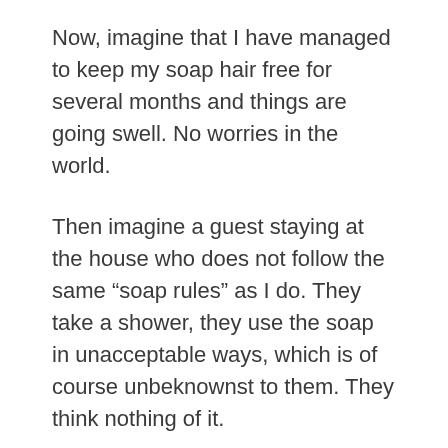Now, imagine that I have managed to keep my soap hair free for several months and things are going swell. No worries in the world.
Then imagine a guest staying at the house who does not follow the same “soap rules” as I do. They take a shower, they use the soap in unacceptable ways, which is of course unbeknownst to them. They think nothing of it.
I am sure you can now imagine my surprise when I go to pick up the bar of soap and notice hair stuck to if from the previous user of the soap – obviously not me. Surprise probably isn’t really the right word, but I’ll